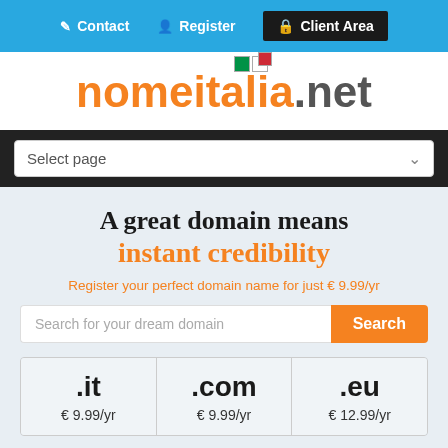Contact | Register | Client Area
[Figure (logo): nomeitalia.net logo with Italian flag icon]
Select page
A great domain means instant credibility
Register your perfect domain name for just € 9.99/yr
Search for your dream domain
| .it | .com | .eu |
| --- | --- | --- |
| € 9.99/yr | € 9.99/yr | € 12.99/yr |